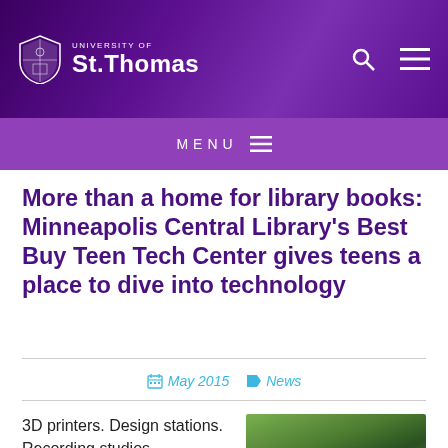University of St. Thomas
More than a home for library books: Minneapolis Central Library's Best Buy Teen Tech Center gives teens a place to dive into technology
May 2015  News
3D printers. Design stations. Recording studios.
[Figure (photo): Photo of a young person outdoors with trees in background]